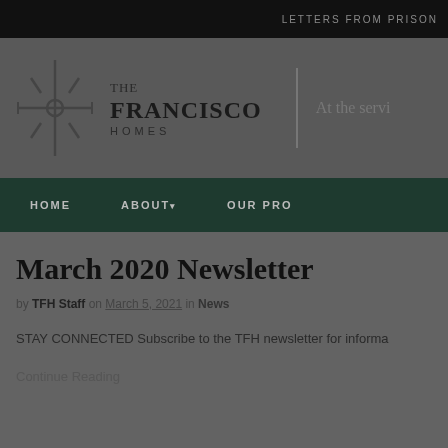LETTERS FROM PRISON
[Figure (logo): The Francisco Homes logo: a compass/wheel icon with spokes and diagonal lines, beside the text THE FRANCISCO HOMES with tagline 'At the servi...']
HOME   ABOUT▾   OUR PRO...
March 2020 Newsletter
by TFH Staff on March 5, 2021 in News
STAY CONNECTED Subscribe to the TFH newsletter for informa...
Continue Reading